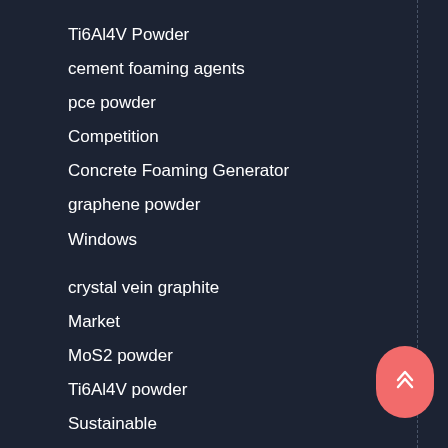Ti6Al4V Powder
cement foaming agents
pce powder
Competition
Concrete Foaming Generator
graphene powder
Windows
crystal vein graphite
Market
MoS2 powder
Ti6Al4V powder
Sustainable